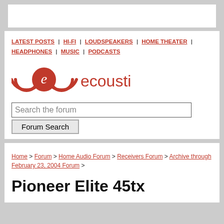[Figure (other): Advertisement banner (empty white box)]
LATEST POSTS | HI-FI | LOUDSPEAKERS | HOME THEATER | HEADPHONES | MUSIC | PODCASTS
[Figure (logo): ecoustics logo with stylized (e) speaker wave icon in red]
Search the forum
Forum Search
Home > Forum > Home Audio Forum > Receivers Forum > Archive through February 23, 2004 Forum >
Pioneer Elite 45tx